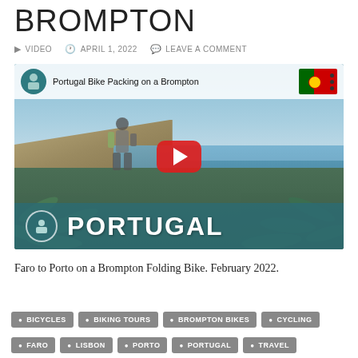BROMPTON
▶ VIDEO   🕐 APRIL 1, 2022   💬 LEAVE A COMMENT
[Figure (screenshot): YouTube video thumbnail for 'Portugal Bike Packing on a Brompton' showing a cyclist with luggage overlooking coastal cliffs in Portugal, with the word PORTUGAL overlaid at the bottom and a YouTube play button in the center.]
Faro to Porto on a Brompton Folding Bike. February 2022.
BICYCLES
BIKING TOURS
BROMPTON BIKES
CYCLING
FARO
LISBON
PORTO
PORTUGAL
TRAVEL